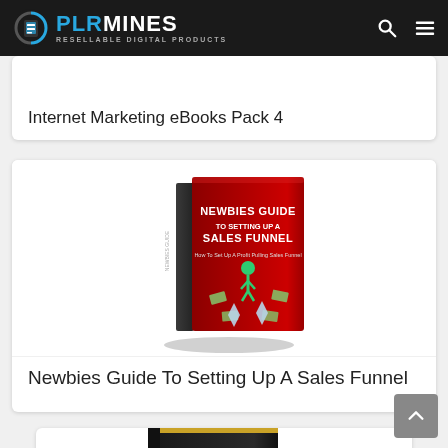PLR MINES - RESELLABLE DIGITAL PRODUCTS
Internet Marketing eBooks Pack 4
[Figure (photo): Book cover for 'Newbies Guide To Setting Up A Sales Funnel' — a red book with a running businessman figure, diamonds and money bills scattered around]
Newbies Guide To Setting Up A Sales Funnel
[Figure (photo): Partial view of a book cover for 'Wealth Creation' — dark background with gold/yellow text, partially visible at bottom of page]